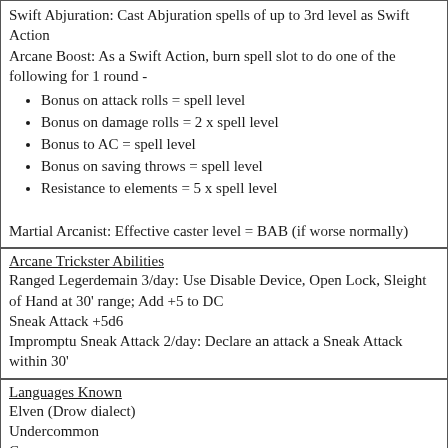Swift Abjuration: Cast Abjuration spells of up to 3rd level as Swift Action
Arcane Boost: As a Swift Action, burn spell slot to do one of the following for 1 round -
Bonus on attack rolls = spell level
Bonus on damage rolls = 2 x spell level
Bonus to AC = spell level
Bonus on saving throws = spell level
Resistance to elements = 5 x spell level
Martial Arcanist: Effective caster level = BAB (if worse normally)
Arcane Trickster Abilities
Ranged Legerdemain 3/day: Use Disable Device, Open Lock, Sleight of Hand at 30' range; Add +5 to DC
Sneak Attack +5d6
Impromptu Sneak Attack 2/day: Declare an attack a Sneak Attack within 30'
Languages Known
Elven (Drow dialect)
Undercommon
Common
Drow Sign Language